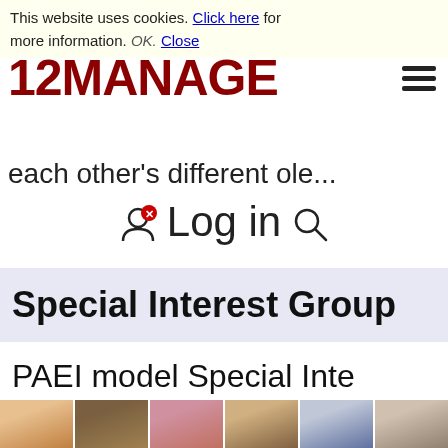This website uses cookies. Click here for more information. OK. Close
[Figure (logo): 12MANAGE logo in dark red bold text with hamburger menu icon]
each other's different old...
Log in
Special Interest Group
PAEI model Special Inte
[Figure (photo): Row of six member profile photos]